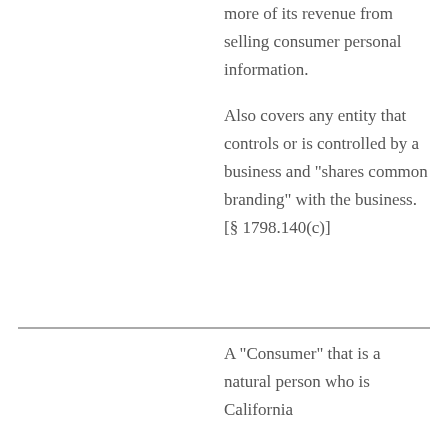more of its revenue from selling consumer personal information.
Also covers any entity that controls or is controlled by a business and “shares common branding” with the business. [§ 1798.140(c)]
A “Consumer” that is a natural person who is California